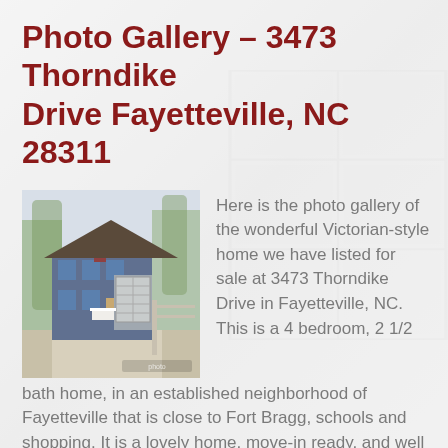Photo Gallery – 3473 Thorndike Drive Fayetteville, NC 28311
[Figure (photo): Exterior photo of a two-story Victorian-style home with blue siding, white garage, chimney, and a paved driveway, surrounded by bare trees]
Here is the photo gallery of the wonderful Victorian-style home we have listed for sale at 3473 Thorndike Drive in Fayetteville, NC. This is a 4 bedroom, 2 1/2 bath home, in an established neighborhood of Fayetteville that is close to Fort Bragg, schools and shopping. It is a lovely home, move-in ready, and well maintained. [...]